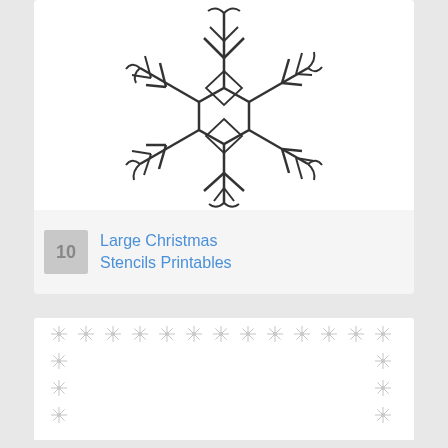[Figure (illustration): Large snowflake outline drawing - a complex symmetrical snowflake stencil with detailed branches and crystal patterns, shown as black outlines on white background]
10  Large Christmas Stencils Printables
[Figure (illustration): Snowflake border/frame printable - small detailed snowflake icons arranged as a decorative border around the perimeter of a page, on white background]